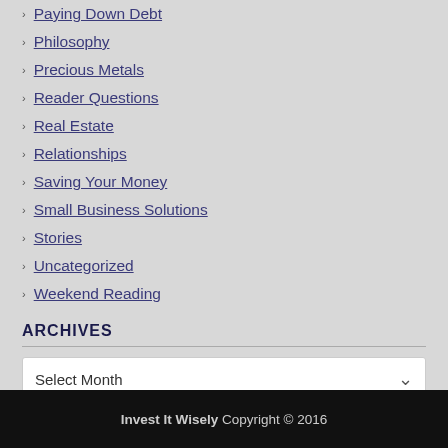Paying Down Debt
Philosophy
Precious Metals
Reader Questions
Real Estate
Relationships
Saving Your Money
Small Business Solutions
Stories
Uncategorized
Weekend Reading
ARCHIVES
Select Month
Invest It Wisely Copyright © 2016